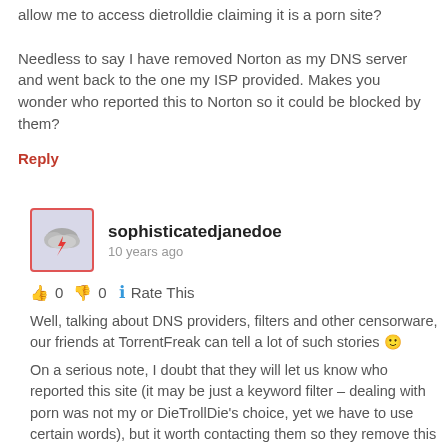allow me to access dietrolldie claiming it is a porn site?

Needless to say I have removed Norton as my DNS server and went back to the one my ISP provided. Makes you wonder who reported this to Norton so it could be blocked by them?
Reply
[Figure (illustration): User avatar icon showing a storm cloud with a lightning bolt, in a square with red border]
sophisticatedjanedoe
10 years ago
👍 0 👎 0 ℹ Rate This
Well, talking about DNS providers, filters and other censorware, our friends at TorrentFreak can tell a lot of such stories 🙂
On a serious note, I doubt that they will let us know who reported this site (it may be just a keyword filter – dealing with porn was not my or DieTrollDie's choice, yet we have to use certain words), but it worth contacting them so they remove this false block.